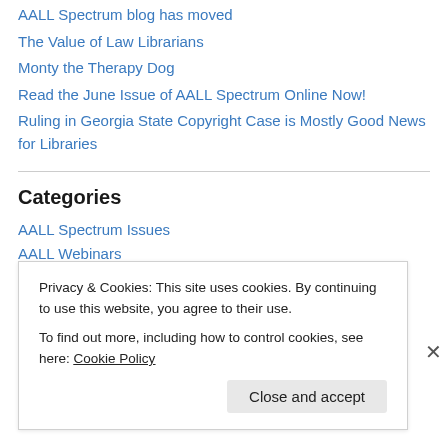AALL Spectrum blog has moved
The Value of Law Librarians
Monty the Therapy Dog
Read the June Issue of AALL Spectrum Online Now!
Ruling in Georgia State Copyright Case is Mostly Good News for Libraries
Categories
AALL Spectrum Issues
AALL Webinars
Advocacy
Privacy & Cookies: This site uses cookies. By continuing to use this website, you agree to their use.
To find out more, including how to control cookies, see here: Cookie Policy
Close and accept